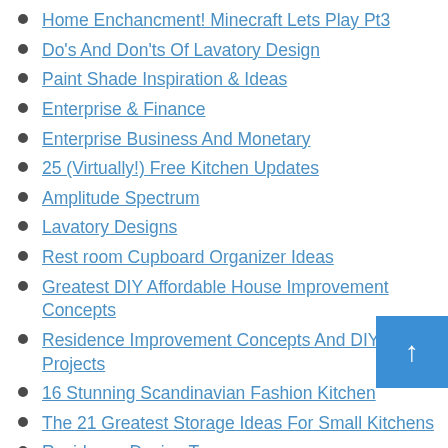Home Enchancment! Minecraft Lets Play Pt3
Do's And Don'ts Of Lavatory Design
Paint Shade Inspiration & Ideas
Enterprise & Finance
Enterprise Business And Monetary
25 (Virtually!) Free Kitchen Updates
Amplitude Spectrum
Lavatory Designs
Rest room Cupboard Organizer Ideas
Greatest DIY Affordable House Improvement Concepts
Residence Improvement Concepts And DIY Projects
16 Stunning Scandinavian Fashion Kitchen
The 21 Greatest Storage Ideas For Small Kitchens
Residence Design Texas